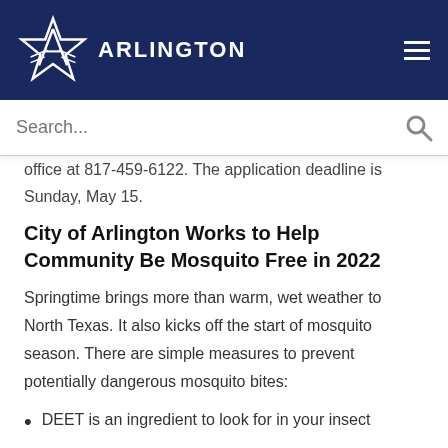[Figure (logo): City of Arlington star logo with text ARLINGTON on dark navy blue header background]
office at 817-459-6122. The application deadline is Sunday, May 15.
City of Arlington Works to Help Community Be Mosquito Free in 2022
Springtime brings more than warm, wet weather to North Texas. It also kicks off the start of mosquito season. There are simple measures to prevent potentially dangerous mosquito bites:
DEET is an ingredient to look for in your insect